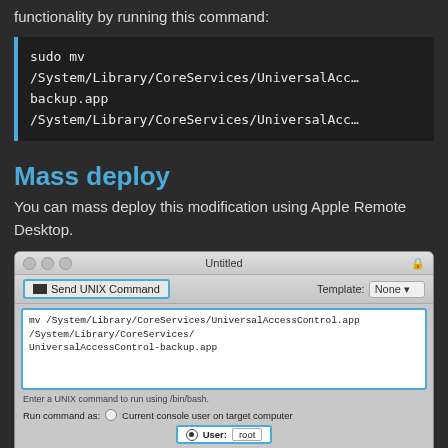functionality by running this command:
Mass deploy
You can mass deploy this modification using Apple Remote Desktop.
[Figure (screenshot): Apple Remote Desktop 'Send UNIX Command' dialog screenshot showing a command text area with the mv command for UniversalAccessControl.app, Run command as User: root option selected, and Display all output checkbox checked.]